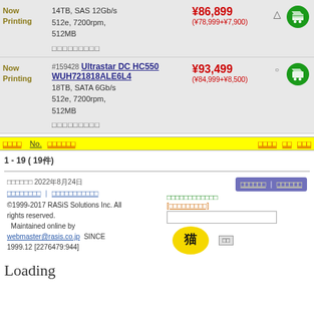| Status | Product | Price | Stock | Cart |
| --- | --- | --- | --- | --- |
| Now Printing | #[num] 14TB, SAS 12Gb/s 512e, 7200rpm, 512MB | \86,899 (\78,999+\7,900) | △ | cart |
| Now Printing | #159428 Ultrastar DC HC550 WUH721818ALE6L4 18TB, SATA 6Gb/s 512e, 7200rpm, 512MB | \93,499 (\84,999+\8,500) | ○ | cart |
1 - 19 ( 19件)
更新日時 2022年8月24日 ©1999-2017 RASiS Solutions Inc. All rights reserved. Maintained online by webmaster@rasis.co.jp SINCE 1999.12 [2276479:944]
Loading